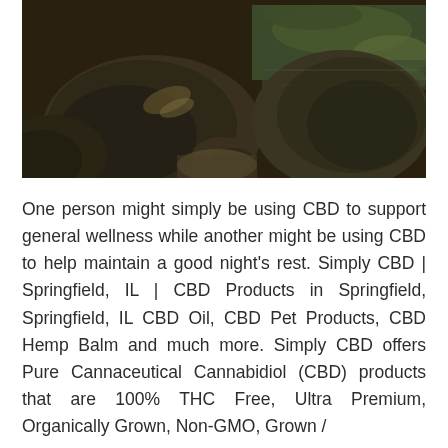[Figure (photo): Outdoor nature photo showing large dark rocks and boulders near a flowing river or stream, with greenish water and green algae-covered rocks in the background. The lighting is dim and dramatic.]
One person might simply be using CBD to support general wellness while another might be using CBD to help maintain a good night's rest. Simply CBD | Springfield, IL | CBD Products in Springfield, Springfield, IL CBD Oil, CBD Pet Products, CBD Hemp Balm and much more. Simply CBD offers Pure Cannaceutical Cannabidiol (CBD) products that are 100% THC Free, Ultra Premium, Organically Grown, Non-GMO, Grown /